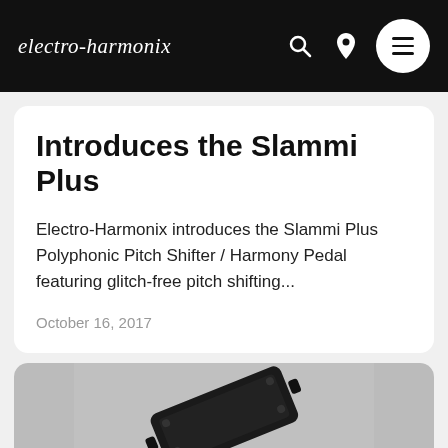electro-harmonix
Introduces the Slammi Plus
Electro-Harmonix introduces the Slammi Plus Polyphonic Pitch Shifter / Harmony Pedal featuring glitch-free pitch shifting...
October 16, 2017
[Figure (photo): Black guitar pedal (Slammi Plus) photographed from above on white/gray background]